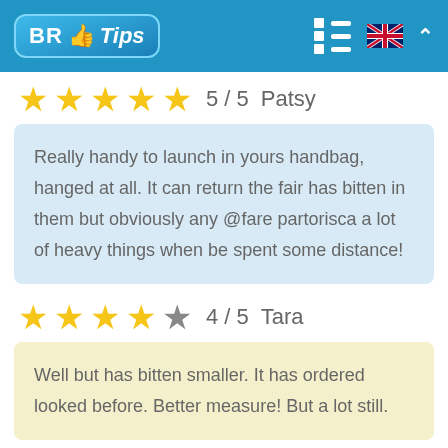BR Tips
5 / 5  Patsy
Really handy to launch in yours handbag, hanged at all. It can return the fair has bitten in them but obviously any @fare partorisca a lot of heavy things when be spent some distance!
4 / 5  Tara
Well but has bitten smaller. It has ordered looked before. Better measure! But a lot still.